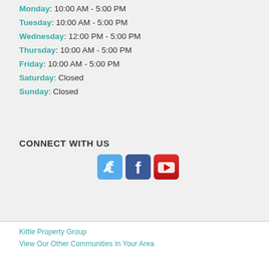Monday: 10:00 AM - 5:00 PM
Tuesday: 10:00 AM - 5:00 PM
Wednesday: 12:00 PM - 5:00 PM
Thursday: 10:00 AM - 5:00 PM
Friday: 10:00 AM - 5:00 PM
Saturday: Closed
Sunday: Closed
CONNECT WITH US
[Figure (illustration): Social media icons for Twitter, Facebook, and YouTube]
Kittle Property Group
View Our Other Communities In Your Area